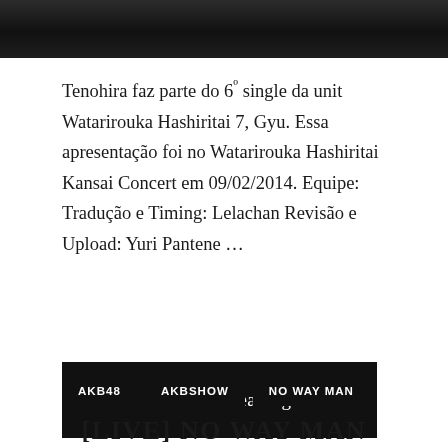[Figure (photo): Dark photograph strip at top of page, showing partially visible people in a dark/shadowy setting]
Tenohira faz parte do 6º single da unit Watarirouka Hashiritai 7, Gyu. Essa apresentação foi no Watarirouka Hashiritai Kansai Concert em 09/02/2014. Equipe: Tradução e Timing: Lelachan Revisão e Upload: Yuri Pantene …
Continue Reading
AKB48
AKBSHOW
NO WAY MAN
[LIVE] NO WAY MAN